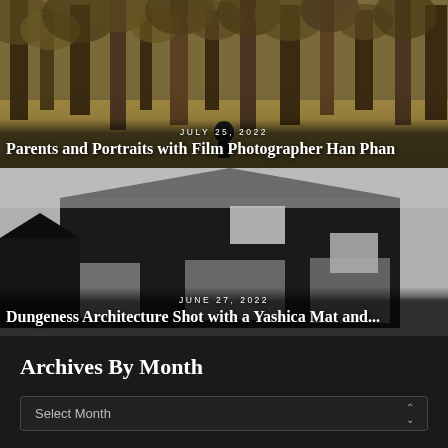[Figure (photo): Film photography portrait: person standing in an autumnal field with bare trees in background]
JULY 25, 2022
Parents and Portraits with Film Photographer Han Phan
[Figure (photo): Black and white architectural photography of a dark barn-like modern building with square windows]
JUNE 27, 2022
Dungeness Architecture Shot with a Yashica Mat and...
Archives By Month
Select Month